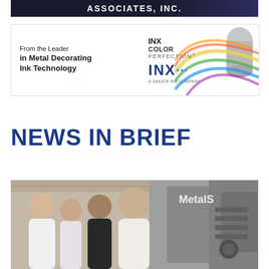[Figure (photo): Partial view of top banner advertisement for Associates, Inc. with dark blue background, partially cropped at top of page]
[Figure (photo): INX Color Perfection advertisement banner. Left side text reads 'From the Leader in Metal Decorating Ink Technology'. Right side shows INX COLOR PERFECTION logo and INX brand name with colorful swirling can imagery. Tagline: A SAKATA INX COMPANY]
NEWS IN BRIEF
[Figure (photo): Group photo of four people (three men and one woman) standing in front of an industrial printing machine labeled MetalS (partially visible). Taken inside a manufacturing facility.]